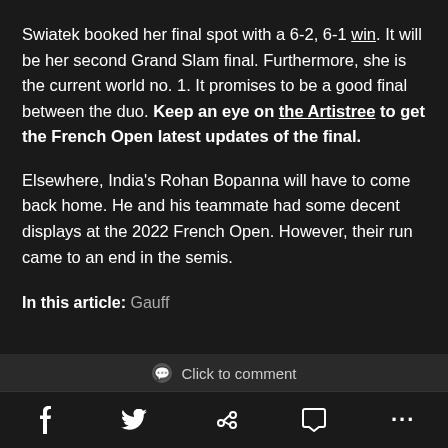Swiatek booked her final spot with a 6-2, 6-1 win. It will be her second Grand Slam final. Furthermore, she is the current world no. 1. It promises to be a good final between the duo. Keep an eye on the Artistree to get the French Open latest updates of the final.
Elsewhere, India's Rohan Bopanna will have to come back home. He and his teammate had some decent displays at the 2022 French Open. However, their run came to an end in the semis.
In this article: Gauff
Click to comment | Social share icons